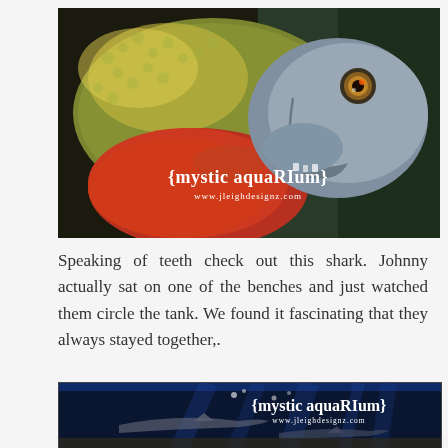[Figure (photo): Close-up photo of a piranha or similar fish with golden-green scales and a red-orange belly, with the text '{mystic aquarium}' and 'www.jleighdesignz.com' watermark overlaid on the image.]
Speaking of teeth check out this shark. Johnny actually sat on one of the benches and just watched them circle the tank. We found it fascinating that they always stayed together,.
[Figure (photo): Photo of sharks swimming in a dark blue aquarium tank, with the text '{mystic aquarium}' and 'www.jleighdesignz.com' watermark overlaid on the image.]